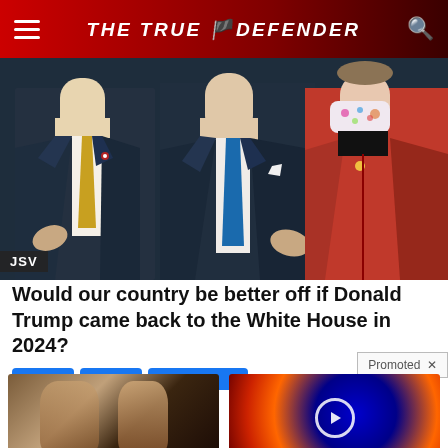THE TRUE DEFENDER
[Figure (photo): Hero photo showing three people in formal attire, one wearing a red suit and floral mask, with JSV label overlay]
Would our country be better off if Donald Trump came back to the White House in 2024?
Promoted
[Figure (photo): Advertisement image showing woman's back before and after weight loss]
These 2 Vegetables Kill Your Belly And Arm Fat Overnight
🔥 160,812
[Figure (photo): Advertisement image showing abstract energy/plasma device with play button]
Why You Need This Strange Device When The Grid Goes Down
🔥 794